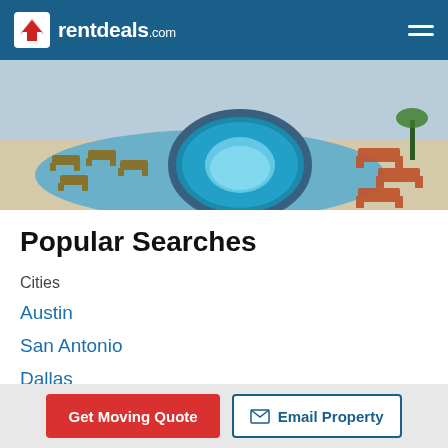rentdeals.com
[Figure (photo): Aerial view of a resort-style pool with lounge chairs and a circular hot tub/spa in the center, surrounded by a large pool deck.]
Popular Searches
Cities
Austin
San Antonio
Dallas
Baton Rouge
New Orle...
Get Moving Quote   Email Property